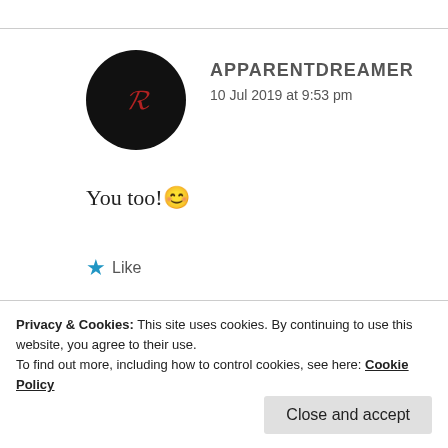[Figure (photo): Black circular avatar with a red letter R on dark background]
APPARENTDREAMER
10 Jul 2019 at 9:53 pm
You too! 😊
★ Like
Advertisements
Privacy & Cookies: This site uses cookies. By continuing to use this website, you agree to their use.
To find out more, including how to control cookies, see here: Cookie Policy
Close and accept